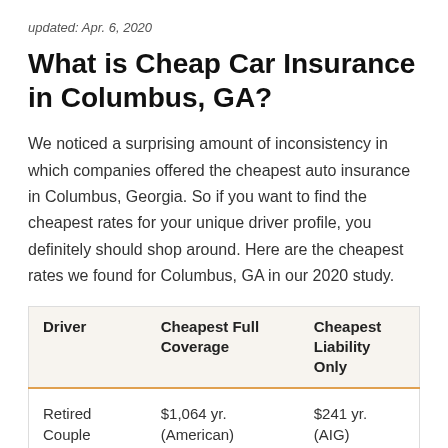updated: Apr. 6, 2020
What is Cheap Car Insurance in Columbus, GA?
We noticed a surprising amount of inconsistency in which companies offered the cheapest auto insurance in Columbus, Georgia. So if you want to find the cheapest rates for your unique driver profile, you definitely should shop around. Here are the cheapest rates we found for Columbus, GA in our 2020 study.
| Driver | Cheapest Full Coverage | Cheapest Liability Only |
| --- | --- | --- |
| Retired Couple | $1,064 yr. (American) | $241 yr. (AIG) |
| Middle Age Male | $1,119 yr. (Progressive) | $146 yr. (Omni) |